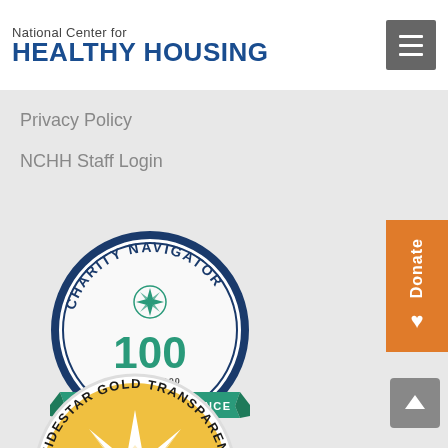National Center for HEALTHY HOUSING
Privacy Policy
NCHH Staff Login
[Figure (logo): Charity Navigator badge: circular badge with dark navy border, compass rose icon in teal, large '100' in teal, 'OUT OF 100' below, teal ribbon banner reading 'GIVE WITH CONFIDENCE', text 'CHARITY NAVIGATOR' around the top arc]
[Figure (logo): GuideStar Gold Transparency 2021 badge: circular badge with white border, gold/yellow starburst in center on gold circle, text 'GUIDESTAR GOLD TRANSPARENCY' around the arc, '2021' at the bottom (partially visible)]